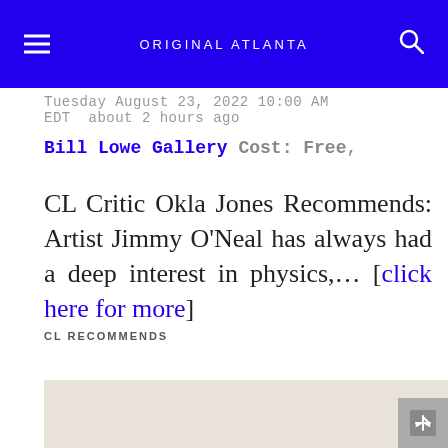ORIGINAL ATLANTA
Tuesday August 23, 2022 10:00 AM EDT  about 2 hours ago
Bill Lowe Gallery Cost: Free,
CL Critic Okla Jones Recommends: Artist Jimmy O'Neal has always had a deep interest in physics,... [click here for more]
CL RECOMMENDS
[Figure (other): Advertisement banner with expand/collapse icon]